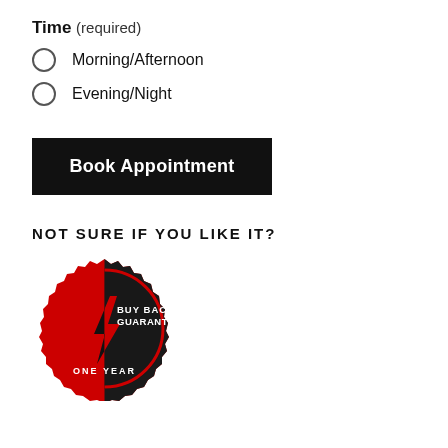Time (required)
Morning/Afternoon
Evening/Night
Book Appointment
NOT SURE IF YOU LIKE IT?
[Figure (logo): Circular badge split black and red with text 'BUY BACK GUARANTEE ONE YEAR' and a lightning bolt arrow icon]